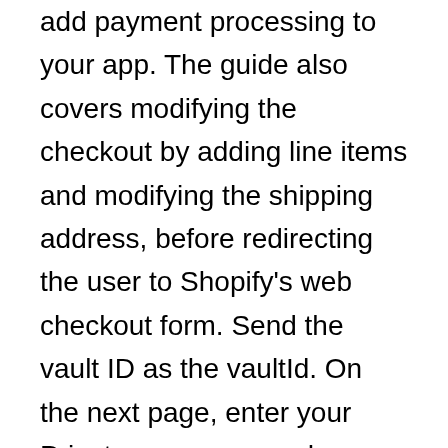add payment processing to your app. The guide also covers modifying the checkout by adding line items and modifying the shipping address, before redirecting the user to Shopify's web checkout form. Send the vault ID as the vaultId. On the next page, enter your Private app name and Contact email.Click â€œReview disabled Admin API Permissionsâ€‍ and change all Permissions to â€œRead and Writeâ€‍. Check your cart, checkout, currency setup and do some test orders before proceeding to the next steps. These new APIs and app extension will enable you to: Build on Shopify Checkout. The mutations that complete checkouts are only available for sales channels. Storefront API. You need to